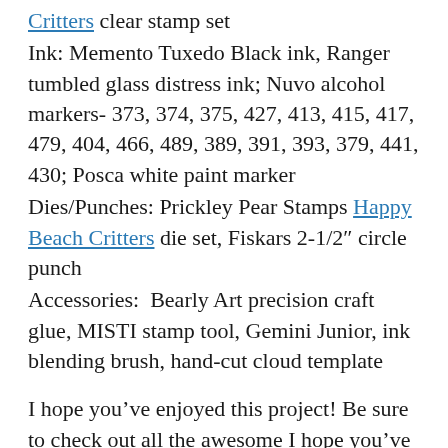Critters clear stamp set
Ink: Memento Tuxedo Black ink, Ranger tumbled glass distress ink; Nuvo alcohol markers- 373, 374, 375, 427, 413, 415, 417, 479, 404, 466, 489, 389, 391, 393, 379, 441, 430; Posca white paint marker
Dies/Punches: Prickley Pear Stamps Happy Beach Critters die set, Fiskars 2-1/2″ circle punch
Accessories:  Bearly Art precision craft glue, MISTI stamp tool, Gemini Junior, ink blending brush, hand-cut cloud template
I hope you’ve enjoyed this project! Be sure to check out all the awesome I hope you’ve enjoyed this project! Be sure to check out all the awesome